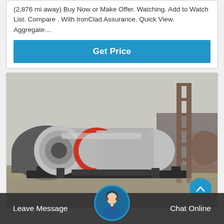(2,876 mi away) Buy Now or Make Offer. Watching. Add to Watch List. Compare . With IronClad Assurance. Quick View. Aggregate…
Get Price
[Figure (photo): Photo of an industrial rotary drum mixer/ball mill machine (silver and red) on black metal frame, in an outdoor industrial yard with shed structures and additional machinery in the background. A blue scroll-up button is visible in the lower right corner of the image.]
Leave Message
Chat Online